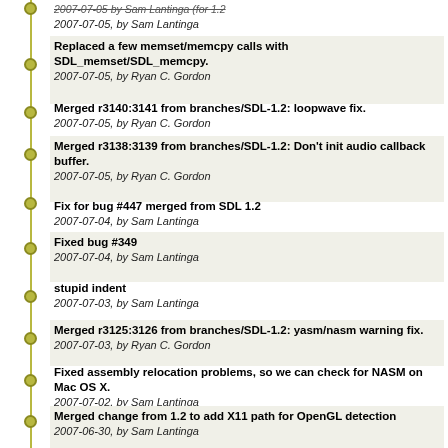2007-07-05, by Sam Lantinga
Replaced a few memset/memcpy calls with SDL_memset/SDL_memcpy.
2007-07-05, by Ryan C. Gordon
Merged r3140:3141 from branches/SDL-1.2: loopwave fix.
2007-07-05, by Ryan C. Gordon
Merged r3138:3139 from branches/SDL-1.2: Don't init audio callback buffer.
2007-07-05, by Ryan C. Gordon
Fix for bug #447 merged from SDL 1.2
2007-07-04, by Sam Lantinga
Fixed bug #349
2007-07-04, by Sam Lantinga
stupid indent
2007-07-03, by Sam Lantinga
Merged r3125:3126 from branches/SDL-1.2: yasm/nasm warning fix.
2007-07-03, by Ryan C. Gordon
Fixed assembly relocation problems, so we can check for NASM on Mac OS X.
2007-07-02, by Sam Lantinga
Merged change from 1.2 to add X11 path for OpenGL detection
2007-06-30, by Sam Lantinga
Patched to compile (missing #endif from a mismerge). Thanks to Peter Mackay
2007-06-29, by Ryan C. Gordon
iconv() doesn't write to the data, just make compilers happy
2007-06-28, by Sam Lantinga